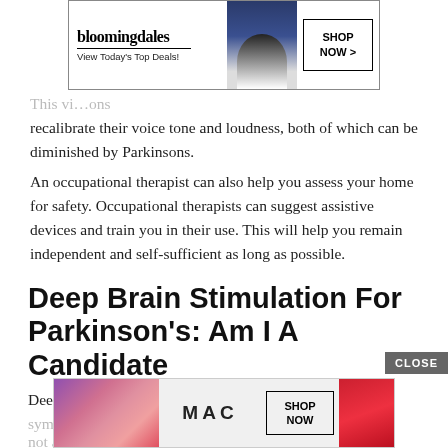[Figure (screenshot): Bloomingdale's advertisement banner: logo text, 'View Today's Top Deals!', woman with hat, 'SHOP NOW >' button]
This vi… sons recalibrate their voice tone and loudness, both of which can be diminished by Parkinsons.
An occupational therapist can also help you assess your home for safety. Occupational therapists can suggest assistive devices and train you in their use. This will help you remain independent and self-sufficient as long as possible.
Deep Brain Stimulation For Parkinson's: Am I A Candidate
Deep brain stimulation is not a cure, but it can relieve your sympto… s are not an… his
[Figure (screenshot): MAC cosmetics advertisement with lipsticks, MAC logo, SHOP NOW button, and CLOSE button overlay]